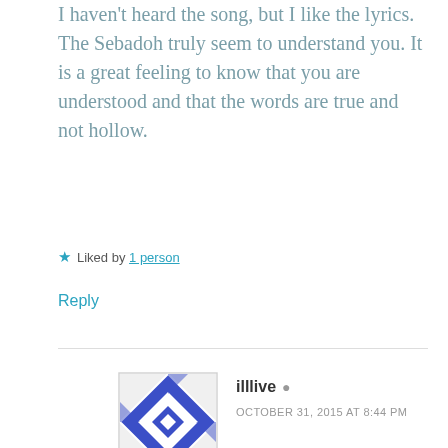I haven't heard the song, but I like the lyrics. The Sebadoh truly seem to understand you. It is a great feeling to know that you are understood and that the words are true and not hollow.
Liked by 1 person
Reply
illlive · OCTOBER 31, 2015 AT 8:44 PM
Thanks, Bindu.
Like
Reply